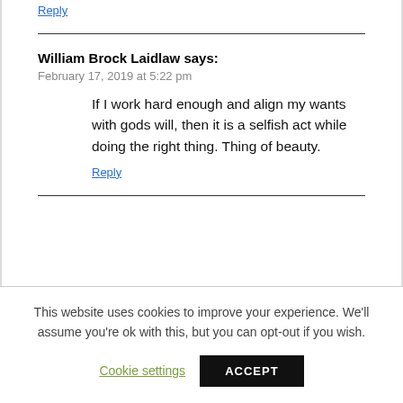Reply
William Brock Laidlaw says:
February 17, 2019 at 5:22 pm
If I work hard enough and align my wants with gods will, then it is a selfish act while doing the right thing. Thing of beauty.
Reply
This website uses cookies to improve your experience. We'll assume you're ok with this, but you can opt-out if you wish.
Cookie settings
ACCEPT